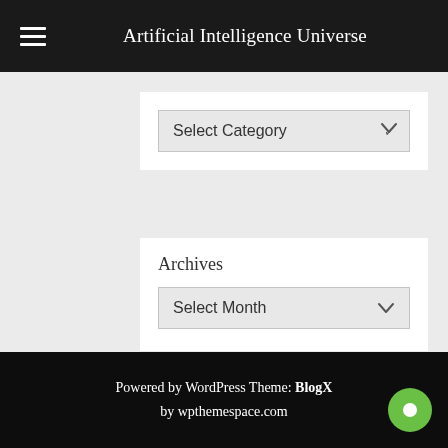Artificial Intelligence Universe
[Figure (screenshot): Select Category dropdown box with a chevron arrow on the right]
[Figure (screenshot): Archives section with Select Month dropdown box]
Powered by WordPress Theme: BlogX by wpthemespace.com